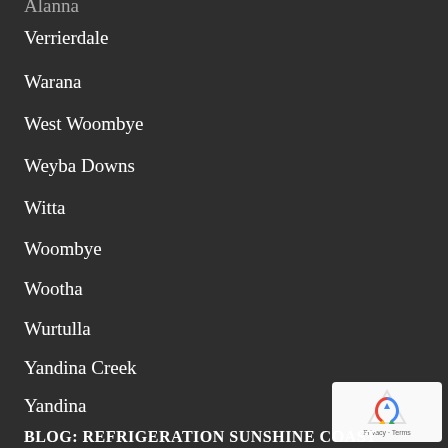Verrierdale
Warana
West Woombye
Weyba Downs
Witta
Woombye
Wootha
Wurtulla
Yandina Creek
Yandina
Yaroomba
BLOG: REFRIGERATION SUNSHINE COAST